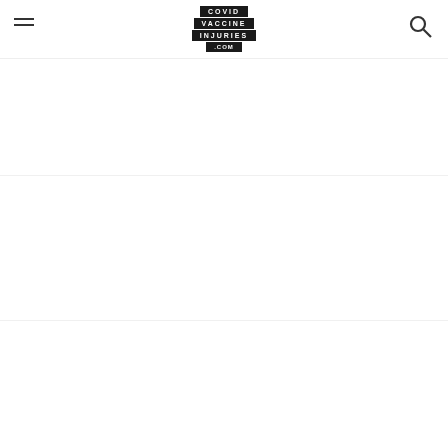COVID VACCINE INJURIES .COM
Cora Faith Walker – 37 Year...
Brianne Dressen Severe Ongoing Adverse Reactions...
Shaun Barcavage: Heartbreaking Testimony From Research...
Piettra Procopio – 12 Year Old...
Shane Warne – 52 Year Old...